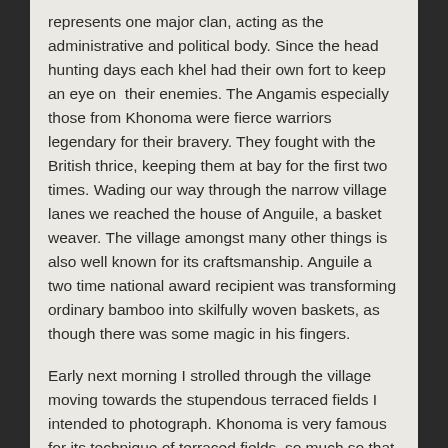represents one major clan, acting as the administrative and political body. Since the head hunting days each khel had their own fort to keep an eye on their enemies. The Angamis especially those from Khonoma were fierce warriors legendary for their bravery. They fought with the British thrice, keeping them at bay for the first two times. Wading our way through the narrow village lanes we reached the house of Anguile, a basket weaver. The village amongst many other things is also well known for its craftsmanship. Anguile a two time national award recipient was transforming ordinary bamboo into skilfully woven baskets, as though there was some magic in his fingers.
Early next morning I strolled through the village moving towards the stupendous terraced fields I intended to photograph. Khonoma is very famous for its technique of terraced fields, so much so that many people have actually undertaken studies on the same. The fields are so perfectl terraced that they can make water go around in an entire